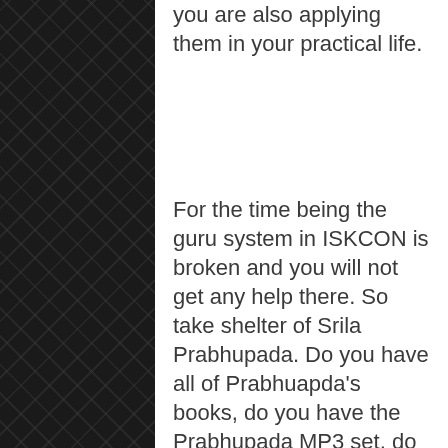you are also applying them in your practical life.
For the time being the guru system in ISKCON is broken and you will not get any help there. So take shelter of Srila Prabhupada. Do you have all of Prabhuapda's books, do you have the Prabhupada MP3 set, do you have the Prabhuanda